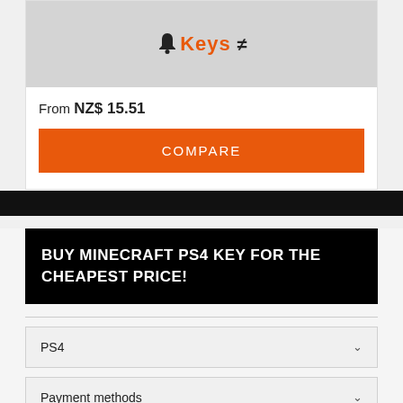[Figure (logo): Product/store logo with bell icon and orange stylized text on gray background]
From NZ$ 15.51
COMPARE
BUY MINECRAFT PS4 KEY FOR THE CHEAPEST PRICE!
PS4
Payment methods